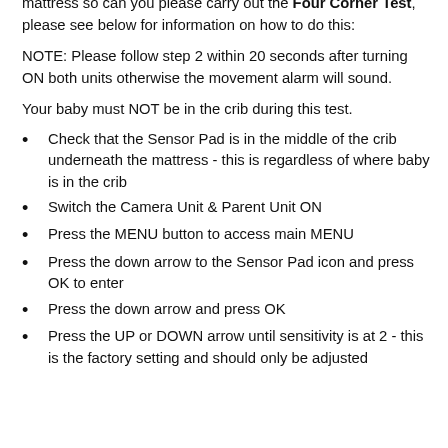whether your Sensor Pad is at the correct level for your baby's mattress so can you please carry out the Four Corner Test, please see below for information on how to do this:
NOTE: Please follow step 2 within 20 seconds after turning ON both units otherwise the movement alarm will sound.
Your baby must NOT be in the crib during this test.
Check that the Sensor Pad is in the middle of the crib underneath the mattress - this is regardless of where baby is in the crib
Switch the Camera Unit & Parent Unit ON
Press the MENU button to access main MENU
Press the down arrow to the Sensor Pad icon and press OK to enter
Press the down arrow and press OK
Press the UP or DOWN arrow until sensitivity is at 2 - this is the factory setting and should only be adjusted